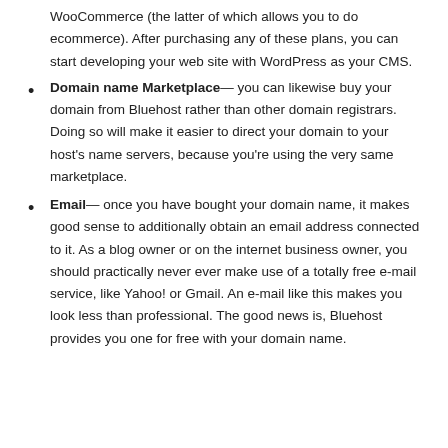WooCommerce (the latter of which allows you to do ecommerce). After purchasing any of these plans, you can start developing your web site with WordPress as your CMS.
Domain name Marketplace— you can likewise buy your domain from Bluehost rather than other domain registrars. Doing so will make it easier to direct your domain to your host's name servers, because you're using the very same marketplace.
Email— once you have bought your domain name, it makes good sense to additionally obtain an email address connected to it. As a blog owner or on the internet business owner, you should practically never ever make use of a totally free e-mail service, like Yahoo! or Gmail. An e-mail like this makes you look less than professional. The good news is, Bluehost provides you one for free with your domain name.